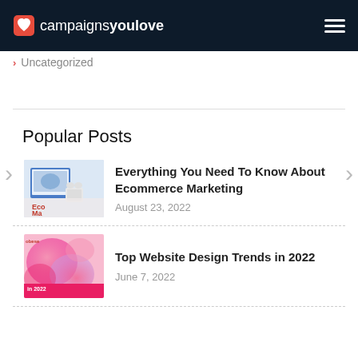campaignsyoulove
Uncategorized
Popular Posts
[Figure (photo): Thumbnail image of laptop with shopping cart – Ecommerce Marketing article]
Everything You Need To Know About Ecommerce Marketing
August 23, 2022
[Figure (photo): Thumbnail image with pink smoke/ink design – Top Website Design Trends in 2022 article]
Top Website Design Trends in 2022
June 7, 2022